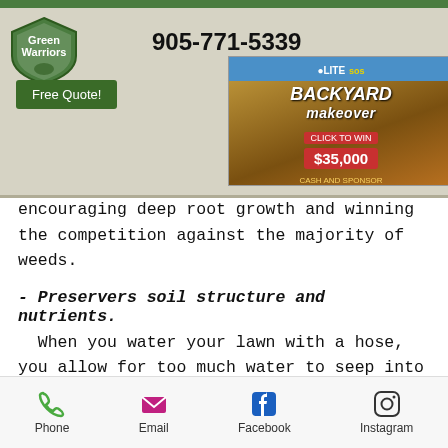Green Warriors Company - 905-771-5339 - Free Quote!
[Figure (screenshot): Green Warriors Company website header with logo, phone number 905-771-5339, hamburger menu, Free Quote button, and a LITE 885 Backyard Makeover $35,000 advertisement banner]
encouraging deep root growth and winning the competition against the majority of weeds.
- Preservers soil structure and nutrients.
When you water your lawn with a hose, you allow for too much water to seep into the soil. Then, this results in fewer nutrients available due to water runoffs. When you water with a hose, the soil becomes compacted. Thus,
Phone  Email  Facebook  Instagram